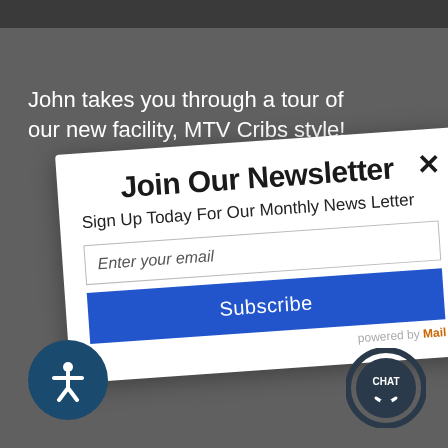John takes you through a tour of our new facility, MTV Cribs style!
[Figure (screenshot): Newsletter signup modal popup overlaid on a dark website background. The modal is slightly rotated and contains the title 'Join Our Newsletter', subtitle 'Sign Up Today For Our Monthly News Letter', an email input field, and a blue Subscribe button. A close X button appears at the top right. Bottom of page shows an accessibility icon button and a CHAT button.]